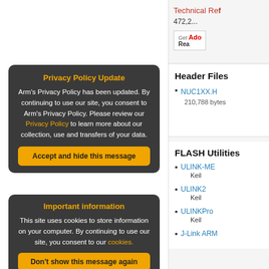Technical Ref...
472,2...
[Figure (screenshot): Get Adobe Reader badge]
Header Files
NUC1XX.H
210,788 bytes
FLASH Utilities
ULINK-ME
Keil
ULINK2
Keil
ULINKPro
Keil
J-Link ARM
Privacy Policy Update

Arm's Privacy Policy has been updated. By continuing to use our site, you consent to Arm's Privacy Policy. Please review our Privacy Policy to learn more about our collection, use and transfers of your data.
Accept and hide this message
Important information

This site uses cookies to store information on your computer. By continuing to use our site, you consent to our cookies.
Don't show this message again
Change Settings